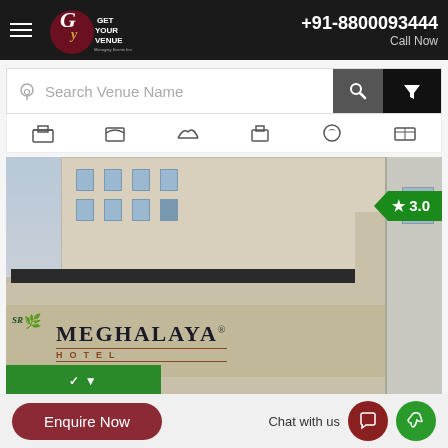Get Your Venue | +91-8800093444 | Call Now
Search Venue Name
[Figure (photo): Exterior photo of Meghalaya Hotel building with sign board showing 'MEGHALAYA HOTEL' text. A green ribbon rating badge showing 3.0 star rating appears on the upper right of the image.]
Enquire Now
Chat with us